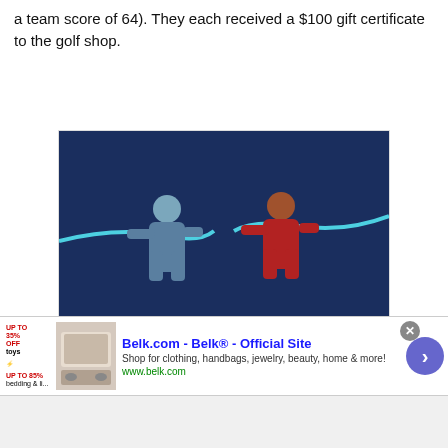a team score of 64). They each received a $100 gift certificate to the golf shop.
[Figure (illustration): Advertisement for Clearview Strategy Partners. Dark blue background with illustrated figures pulling on a glowing rope. Text reads 'Stop addressing your team's differences.' Logo shows geometric diamond/cube shape with 'CLEARVIEW STRATEGY PARTNERS' in red and cvstrategy.com below.]
[Figure (illustration): Belk.com advertisement banner. Shows 'Belk.com - Belk® - Official Site' with tagline 'Shop for clothing, handbags, jewelry, beauty, home & more!' and URL www.belk.com. Includes thumbnail of bedding products.]